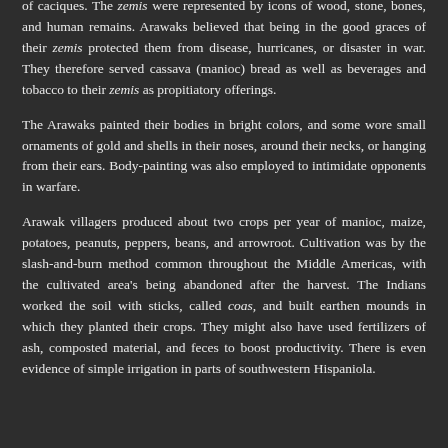of caciques. The zemis were represented by icons of wood, stone, bones, and human remains. Arawaks believed that being in the good graces of their zemis protected them from disease, hurricanes, or disaster in war. They therefore served cassava (manioc) bread as well as beverages and tobacco to their zemis as propitiatory offerings.
The Arawaks painted their bodies in bright colors, and some wore small ornaments of gold and shells in their noses, around their necks, or hanging from their ears. Body-painting was also employed to intimidate opponents in warfare.
Arawak villagers produced about two crops per year of manioc, maize, potatoes, peanuts, peppers, beans, and arrowroot. Cultivation was by the slash-and-burn method common throughout the Middle Americas, with the cultivated area's being abandoned after the harvest. The Indians worked the soil with sticks, called coas, and built earthen mounds in which they planted their crops. They might also have used fertilizers of ash, composted material, and feces to boost productivity. There is even evidence of simple irrigation in parts of southwestern Hispaniola.